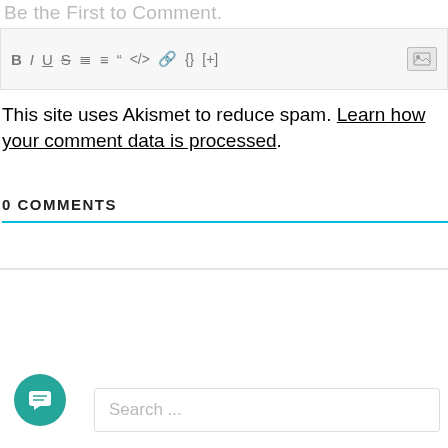Be the First to Comment.
[Figure (screenshot): WordPress comment editor toolbar with formatting buttons: B, I, U, S, ordered list, unordered list, blockquote, code, link, {}, [+], and image icon]
This site uses Akismet to reduce spam. Learn how your comment data is processed.
0 COMMENTS
[Figure (screenshot): Comments tab bar with lightning bolt (orange) and fire (red) icons, with gradient underline]
[Figure (screenshot): Teal circular chat bubble button (bottom left) and Search input field with placeholder text 'Search ...']